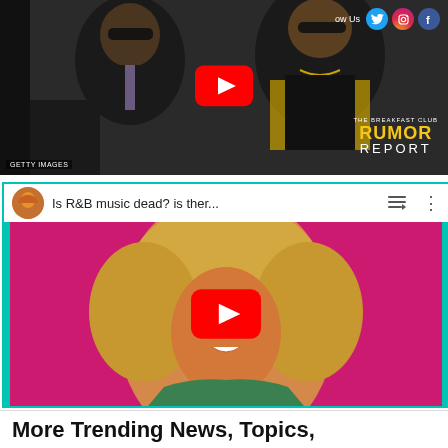[Figure (screenshot): YouTube video thumbnail showing two men in a car with sunglasses, YouTube play button overlay, Rumor Report badge, social media icons (Twitter, Instagram, Facebook), GETTY IMAGES watermark]
[Figure (screenshot): YouTube video embed showing a woman with curly blonde hair, title 'Is R&B music dead? is ther...', YouTube play button overlay, teal border]
More Trending News, Topics,